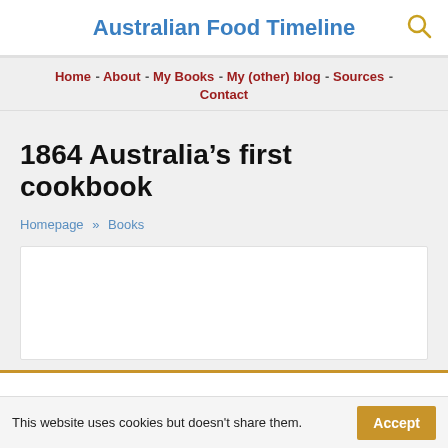Australian Food Timeline
Home - About - My Books - My (other) blog - Sources - Contact
1864 Australia’s first cookbook
Homepage » Books
This website uses cookies but doesn't share them.